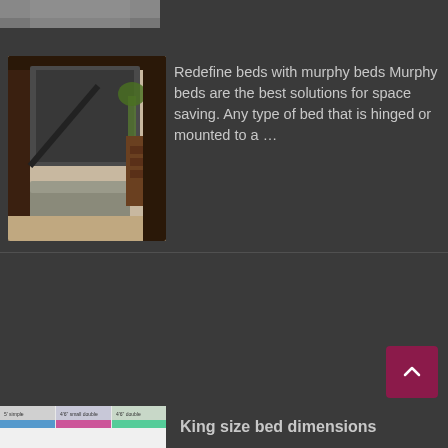[Figure (photo): Partial top edge of a photo showing ceiling/room interior]
[Figure (photo): Murphy bed folded up from wall showing mechanism, sofa below, wooden furniture in background bedroom]
Redefine beds with murphy beds Murphy beds are the best solutions for space saving. Any type of bed that is hinged or mounted to a …
[Figure (photo): Thumbnail image showing king size bed dimensions chart with labels: 5' simple, 4'6" small double, 4'6" double]
King size bed dimensions